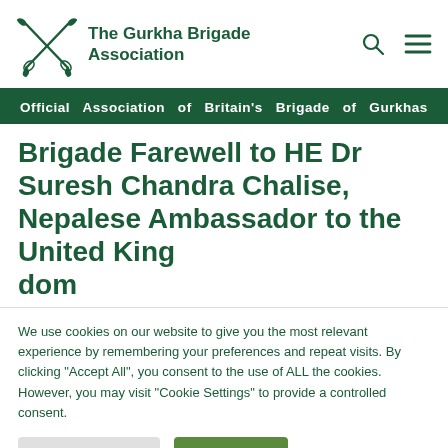[Figure (logo): The Gurkha Brigade Association logo with crossed kukris and text 'The Gurkha Brigade Association']
Official Association of Britain's Brigade of Gurkhas
Brigade Farewell to HE Dr Suresh Chandra Chalise, Nepalese Ambassador to the United Kingdom
We use cookies on our website to give you the most relevant experience by remembering your preferences and repeat visits. By clicking "Accept All", you consent to the use of ALL the cookies. However, you may visit "Cookie Settings" to provide a controlled consent.
Cookie Settings | Accept All